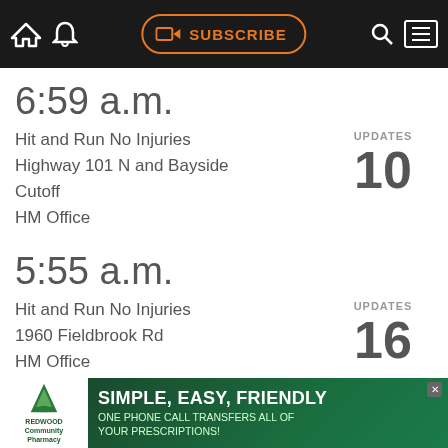SUBSCRIBE (navigation bar)
6:59 a.m.
Hit and Run No Injuries
Highway 101 N and Bayside Cutoff
HM Office
UPDATES 10
5:55 a.m.
Hit and Run No Injuries
1960 Fieldbrook Rd
HM Office
UPDATES 16
© 2022 Lost Coast Communications Contact: news@lostcoastoutpost.com.
[Figure (infographic): Advertisement for Redwood Community Pharmacy: SIMPLE, EASY, FRIENDLY - ONE PHONE CALL TRANSFERS ALL OF YOUR PRESCRIPTIONS!]